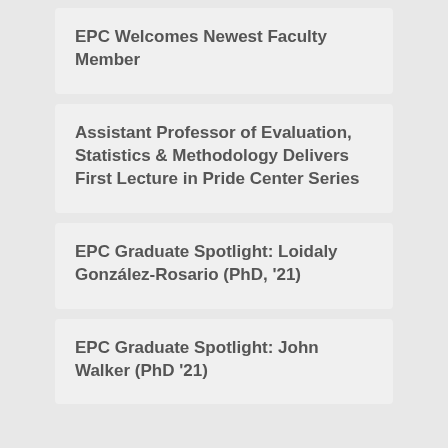EPC Welcomes Newest Faculty Member
Assistant Professor of Evaluation, Statistics & Methodology Delivers First Lecture in Pride Center Series
EPC Graduate Spotlight: Loidaly González-Rosario (PhD, '21)
EPC Graduate Spotlight: John Walker (PhD '21)